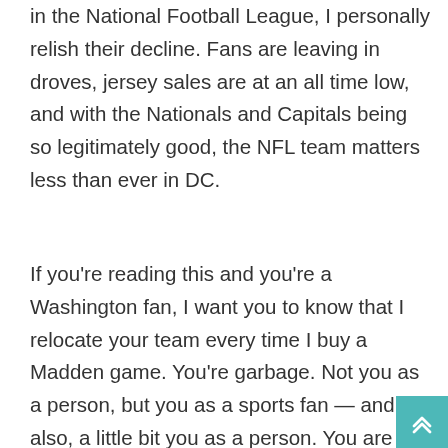in the National Football League, I personally relish their decline. Fans are leaving in droves, jersey sales are at an all time low, and with the Nationals and Capitals being so legitimately good, the NFL team matters less than ever in DC.
If you're reading this and you're a Washington fan, I want you to know that I relocate your team every time I buy a Madden game. You're garbage. Not you as a person, but you as a sports fan — and also, a little bit you as a person. You are cheering for a racial slur. I know there are lots of